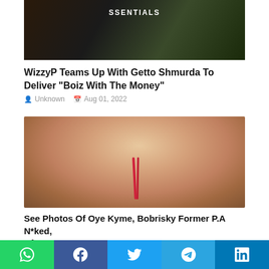[Figure (photo): Top partial image showing a person wearing a white t-shirt with 'ESSENTIALS' text, dark background]
WizzyP Teams Up With Getto Shmurda To Deliver "Boiz With The Money"
Unknown  Aug 01, 2022
[Figure (photo): Photo of a young woman with blue eyes wearing a red halter top, smiling with chin resting on hand]
See Photos Of Oye Kyme, Bobrisky Former P.A N*ked, After Saying She Will Not Do Porno (18+)